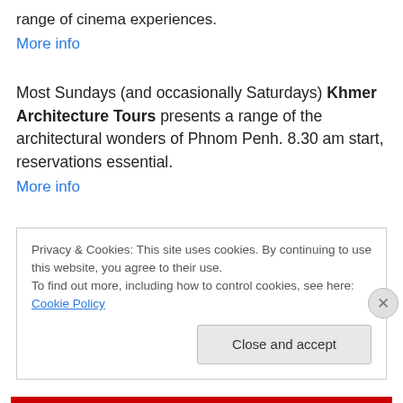range of cinema experiences.
More info
Most Sundays (and occasionally Saturdays) Khmer Architecture Tours presents a range of the architectural wonders of Phnom Penh. 8.30 am start, reservations essential.
More info
Performing arts courses at Brighton International School (#79 street 310) for ages 4 – 6 and 7 – 11 –
Privacy & Cookies: This site uses cookies. By continuing to use this website, you agree to their use. To find out more, including how to control cookies, see here: Cookie Policy
Close and accept